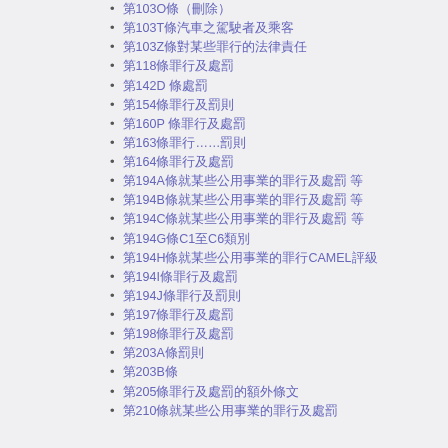第103O條（刪除）
第103T條汽車之駕駛者及乘客
第103Z條對某些罪行的法律責任
第118條罪行及處罰
第142D 條處罰
第154條罪行及罰則
第160P 條罪行及處罰
第163條罪行……罰則
第164條罪行及處罰
第194A條就某些公用事業的罪行及處罰 等
第194B條就某些公用事業的罪行及處罰 等
第194C條就某些公用事業的罪行及處罰 等
第194G條C1至C6類別
第194H條就某些公用事業的罪行CAMEL評級
第194I條罪行及處罰
第194J條罪行及罰則
第197條罪行及處罰
第198條罪行及處罰
第203A條罰則
第203B條
第205條罪行及處罰的額外條文
第210條就某些公用事業的罪行及處罰